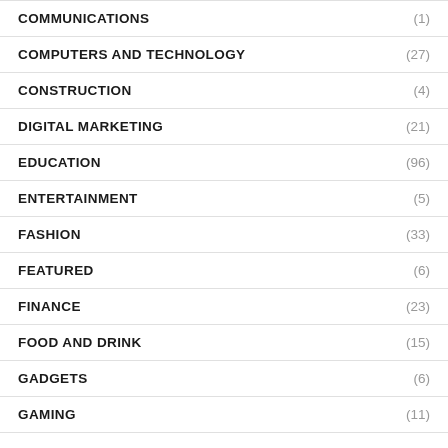COMMUNICATIONS (1)
COMPUTERS AND TECHNOLOGY (27)
CONSTRUCTION (4)
DIGITAL MARKETING (21)
EDUCATION (96)
ENTERTAINMENT (5)
FASHION (33)
FEATURED (6)
FINANCE (23)
FOOD AND DRINK (15)
GADGETS (6)
GAMING (11)